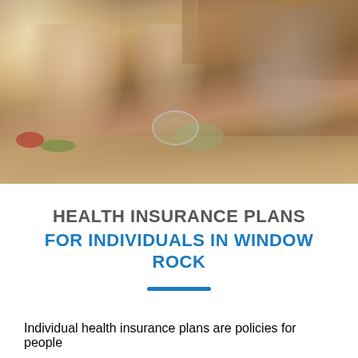[Figure (photo): A happy family — woman, young girl, and man — cooking together in a kitchen. The woman and man are chopping vegetables on a cutting board while the girl feeds the woman a piece of food. There are tomatoes, lettuce, peppers, and a glass bowl of salad on the counter. Warm kitchen lighting in the background.]
HEALTH INSURANCE PLANS FOR INDIVIDUALS IN WINDOW ROCK
Individual health insurance plans are policies for people